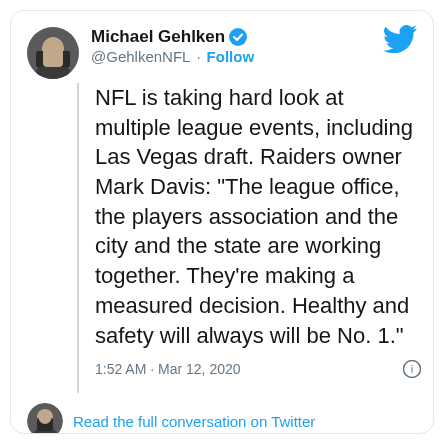[Figure (screenshot): Twitter/X profile screenshot showing tweet by Michael Gehlken (@GehlkenNFL) with verified badge and follow button]
NFL is taking hard look at multiple league events, including Las Vegas draft. Raiders owner Mark Davis: “The league office, the players association and the city and the state are working together. They’re making a measured decision. Healthy and safety will always will be No. 1.”
1:52 AM · Mar 12, 2020
Read the full conversation on Twitter
382
Reply
Copy link
Read 20 replies